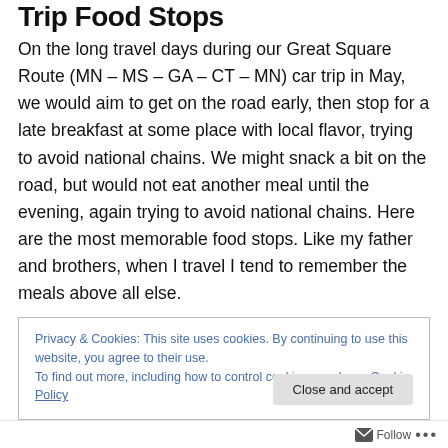Trip Food Stops
On the long travel days during our Great Square Route (MN – MS – GA – CT – MN) car trip in May, we would aim to get on the road early, then stop for a late breakfast at some place with local flavor, trying to avoid national chains. We might snack a bit on the road, but would not eat another meal until the evening, again trying to avoid national chains. Here are the most memorable food stops. Like my father and brothers, when I travel I tend to remember the meals above all else.
Privacy & Cookies: This site uses cookies. By continuing to use this website, you agree to their use.
To find out more, including how to control cookies, see here: Cookie Policy
Follow